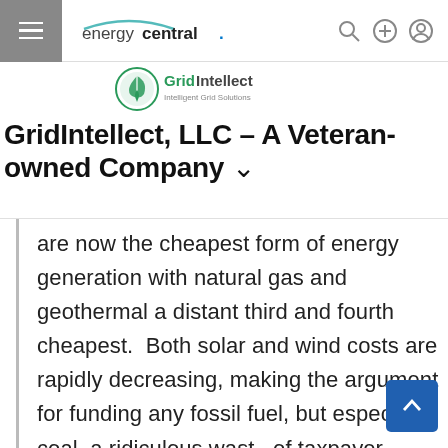energycentral. (navigation bar with hamburger menu, search, plus, and user icons)
[Figure (logo): GridIntellect – Intelligent Grid Solutions logo with green leaf/circle icon]
GridIntellect, LLC – A Veteran-owned Company
are now the cheapest form of energy generation with natural gas and geothermal a distant third and fourth cheapest.  Both solar and wind costs are rapidly decreasing, making the argument for funding any fossil fuel, but especially coal, a ridiculous waste of taxpayer money.